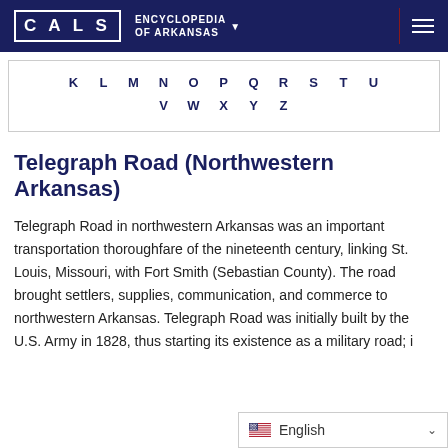CALS ENCYCLOPEDIA OF ARKANSAS
[Figure (other): Alphabet navigation box showing letters K L M N O P Q R S T U on first row and V W X Y Z on second row]
Telegraph Road (Northwestern Arkansas)
Telegraph Road in northwestern Arkansas was an important transportation thoroughfare of the nineteenth century, linking St. Louis, Missouri, with Fort Smith (Sebastian County). The road brought settlers, supplies, communication, and commerce to northwestern Arkansas. Telegraph Road was initially built by the U.S. Army in 1828, thus starting its existence as a military road; i...